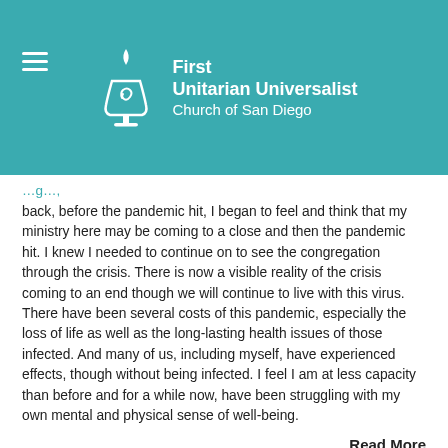[Figure (logo): First Unitarian Universalist Church of San Diego logo with chalice icon on teal background]
back, before the pandemic hit, I began to feel and think that my ministry here may be coming to a close and then the pandemic hit. I knew I needed to continue on to see the congregation through the crisis. There is now a visible reality of the crisis coming to an end though we will continue to live with this virus. There have been several costs of this pandemic, especially the loss of life as well as the long-lasting health issues of those infected. And many of us, including myself, have experienced effects, though without being infected. I feel I am at less capacity than before and for a while now, have been struggling with my own mental and physical sense of well-being.
Read More
Tweet
0 Comments